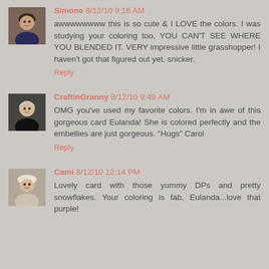[Figure (photo): Avatar photo of Simone, a woman with dark hair]
Simone 8/12/10 9:16 AM
awwwwwwww this is so cute & I LOVE the colors. I was studying your coloring too, YOU CAN'T SEE WHERE YOU BLENDED IT. VERY impressive little grasshopper! I haven't got that figured out yet. snicker.
Reply
[Figure (photo): Avatar photo of CraftinGranny, an older woman with grey hair]
CraftinGranny 8/12/10 9:49 AM
OMG you've used my favorite colors. I'm in awe of this gorgeous card Eulanda! She is colored perfectly and the embellies are just gorgeous. "Hugs" Carol
Reply
[Figure (photo): Avatar photo of Cami, a person with short hair wearing a hat]
Cami 8/12/10 12:14 PM
Lovely card with those yummy DPs and pretty snowflakes. Your coloring is fab, Eulanda...love that purple!